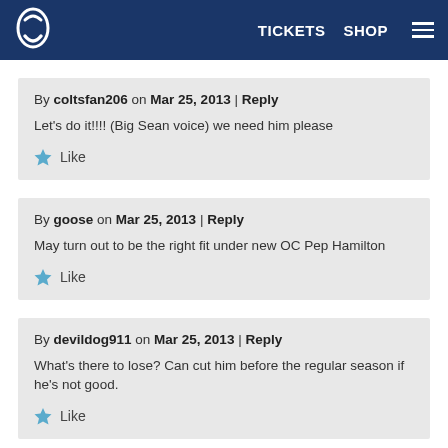Indianapolis Colts — TICKETS  SHOP  [menu]
By coltsfan206 on Mar 25, 2013 | Reply
Let's do it!!!! (Big Sean voice) we need him please
Like
By goose on Mar 25, 2013 | Reply
May turn out to be the right fit under new OC Pep Hamilton
Like
By devildog911 on Mar 25, 2013 | Reply
What's there to lose? Can cut him before the regular season if he's not good.
Like
By peytonsneck18 on Mar 25, 2013 | Reply
sometimes a player needs a diffrent organization and system and QB throwing to